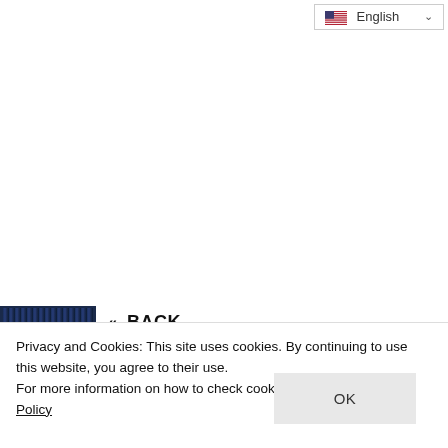[Figure (screenshot): Language selector dropdown showing English with US flag and chevron, positioned top right]
[Figure (screenshot): Back navigation bar with dark blue thumbnail image and bold BACK text with double chevron]
Privacy and Cookies: This site uses cookies. By continuing to use this website, you agree to their use.
For more information on how to check cookies, see here: Cookie Policy
OK